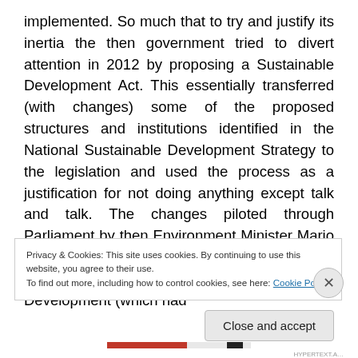implemented. So much that to try and justify its inertia the then government tried to divert attention in 2012 by proposing a Sustainable Development Act. This essentially transferred (with changes) some of the proposed structures and institutions identified in the National Sustainable Development Strategy to the legislation and used the process as a justification for not doing anything except talk and talk. The changes piloted through Parliament by then Environment Minister Mario de Marco included the effective dissolution of the National Commission for Sustainable Development (which had
Privacy & Cookies: This site uses cookies. By continuing to use this website, you agree to their use.
To find out more, including how to control cookies, see here: Cookie Policy